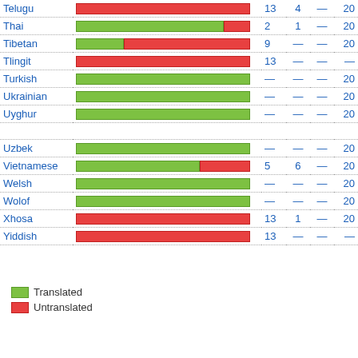| Language | Progress bar |  |  |  |  |
| --- | --- | --- | --- | --- | --- |
| Telugu | [bar: red=13] | 13 | 4 | — | 20 |
| Thai | [bar: green+red=2] | 2 | 1 | — | 20 |
| Tibetan | [bar: green+red=9] | 9 | — | — | 20 |
| Tlingit | [bar: red=13] | 13 | — | — | — |
| Turkish | [bar: green] | — | — | — | 20 |
| Ukrainian | [bar: green] | — | — | — | 20 |
| Uyghur | [bar: green] | — | — | — | 20 |
|  |  |  |  |  |  |
| Uzbek | [bar: green] | — | — | — | 20 |
| Vietnamese | [bar: green+red=5] | 5 | 6 | — | 20 |
| Welsh | [bar: green] | — | — | — | 20 |
| Wolof | [bar: green] | — | — | — | 20 |
| Xhosa | [bar: red=13] | 13 | 1 | — | 20 |
| Yiddish | [bar: red=13] | 13 | — | — | — |
Translated
Untranslated